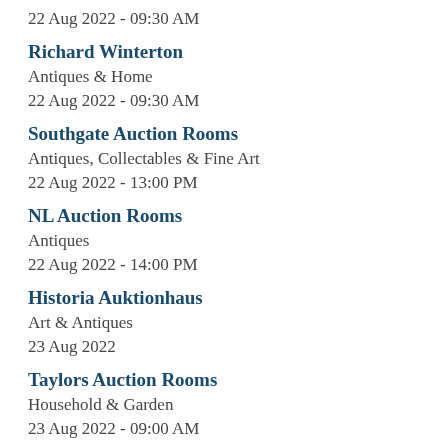22 Aug 2022 - 09:30 AM
Richard Winterton
Antiques & Home
22 Aug 2022 - 09:30 AM
Southgate Auction Rooms
Antiques, Collectables & Fine Art
22 Aug 2022 - 13:00 PM
NL Auction Rooms
Antiques
22 Aug 2022 - 14:00 PM
Historia Auktionhaus
Art & Antiques
23 Aug 2022
Taylors Auction Rooms
Household & Garden
23 Aug 2022 - 09:00 AM